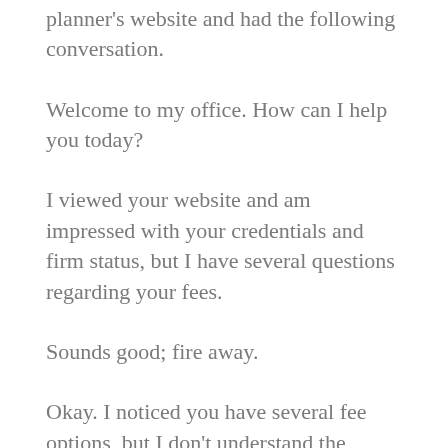planner’s website and had the following conversation.
Welcome to my office. How can I help you today?
I viewed your website and am impressed with your credentials and firm status, but I have several questions regarding your fees.
Sounds good; fire away.
Okay. I noticed you have several fee options, but I don’t understand the difference. Can you explain why you have